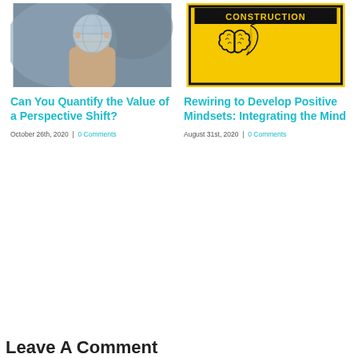[Figure (photo): A hand holding a crystal glass globe ball against a blurred city background]
Can You Quantify the Value of a Perspective Shift?
October 26th, 2020 | 0 Comments
[Figure (illustration): Yellow construction sign with a brain icon split into two halves and a quill pen, text CONSTRUCTION at top]
Rewiring to Develop Positive Mindsets: Integrating the Mind
August 31st, 2020 | 0 Comments
Leave A Comment